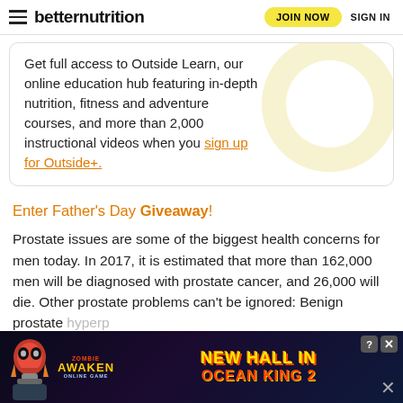betternutrition — JOIN NOW  SIGN IN
Get full access to Outside Learn, our online education hub featuring in-depth nutrition, fitness and adventure courses, and more than 2,000 instructional videos when you sign up for Outside+.
Enter Father's Day Giveaway!
Prostate issues are some of the biggest health concerns for men today. In 2017, it is estimated that more than 162,000 men will be diagnosed with prostate cancer, and 26,000 will die. Other prostate problems can't be ignored: Benign prostate hyperp[lasia...] result i[n...]
[Figure (screenshot): Advertisement banner for Zombie Awaken / Ocean King 2 game featuring skull graphic, colorful text 'NEW HALL IN OCEAN KING 2', with close and info buttons]